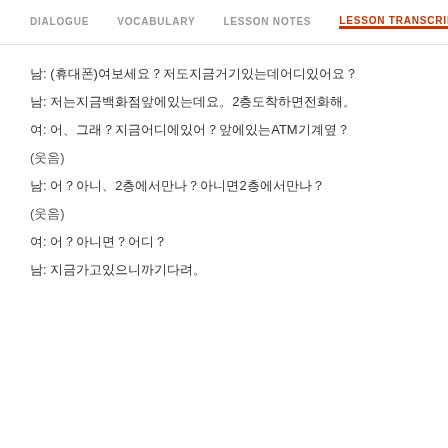DIALOGUE   VOCABULARY   LESSON NOTES   LESSON TRANSCRIPT   K
男: (휴대폰)여보세요？저도지금거기있는데어디있어요？
남: 저는지금백화점앞에있는데요。2층도착하면전화해。
여: 어、그래？지금어디에있어？앞에있는ATM기계옆？
(웃음)
남: 어？아니、2층에서만나？아니면2층에서만나？
(웃음)
여: 어？아니면？어디？
남: 지금가고있으니까기다려。